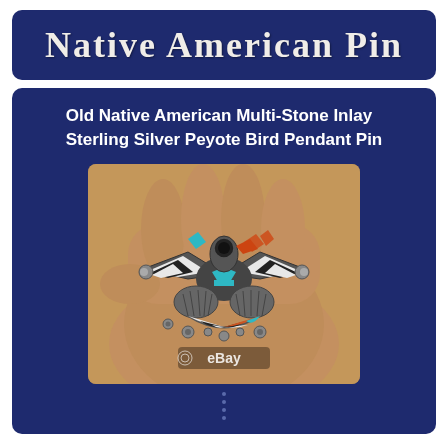Native American Pin
Old Native American Multi-Stone Inlay Sterling Silver Peyote Bird Pendant Pin
[Figure (photo): A hand holding a Native American multi-stone inlay sterling silver Peyote Bird pendant pin. The bird design features turquoise, orange/coral, black, and white stone inlays set in sterling silver, with an eBay watermark visible at the bottom of the image.]